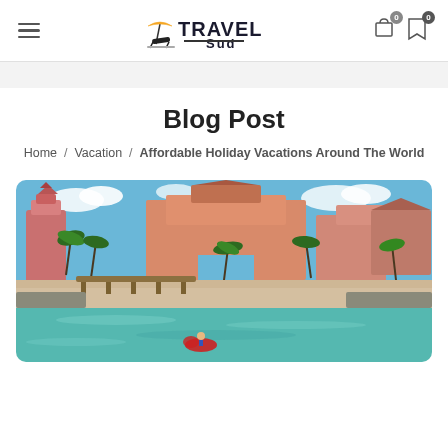Travel Sud — navigation header with hamburger menu and cart/bookmark icons (0)
Blog Post
Home / Vacation / Affordable Holiday Vacations Around The World
[Figure (photo): Aerial/waterfront view of a large pink resort complex (Atlantis-style) with turquoise water, white sandy beach, palm trees, and blue sky. A person on a water toy is visible in the foreground water.]